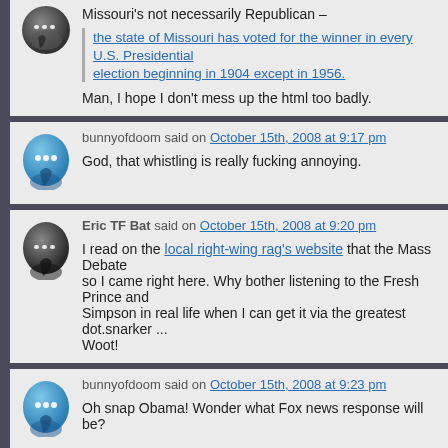Missouri's not necessarily Republican –
the state of Missouri has voted for the winner in every U.S. Presidential election beginning in 1904 except in 1956.
Man, I hope I don't mess up the html too badly.
bunnyofdoom said on October 15th, 2008 at 9:17 pm
God, that whistling is really fucking annoying.
Eric TF Bat said on October 15th, 2008 at 9:20 pm
I read on the local right-wing rag's website that the Mass Debate was on, so I came right here. Why bother listening to the Fresh Prince and Simpson in real life when I can get it via the greatest dot.snarker ... Woot!
bunnyofdoom said on October 15th, 2008 at 9:23 pm
Oh snap Obama! Wonder what Fox news response will be?
SilverMoonWolf said on October 15th, 2008 at 9:31 pm